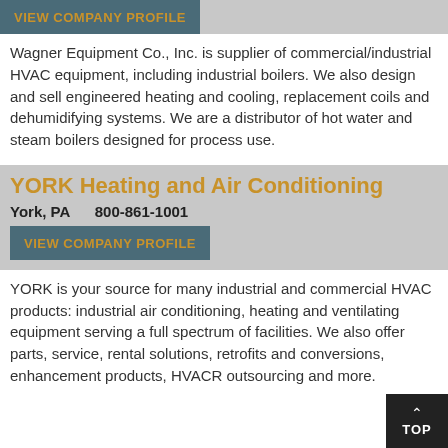VIEW COMPANY PROFILE
Wagner Equipment Co., Inc. is supplier of commercial/industrial HVAC equipment, including industrial boilers. We also design and sell engineered heating and cooling, replacement coils and dehumidifying systems. We are a distributor of hot water and steam boilers designed for process use.
YORK Heating and Air Conditioning
York, PA   800-861-1001
VIEW COMPANY PROFILE
YORK is your source for many industrial and commercial HVAC products: industrial air conditioning, heating and ventilating equipment serving a full spectrum of facilities. We also offer parts, service, rental solutions, retrofits and conversions, enhancement products, HVACR outsourcing and more.